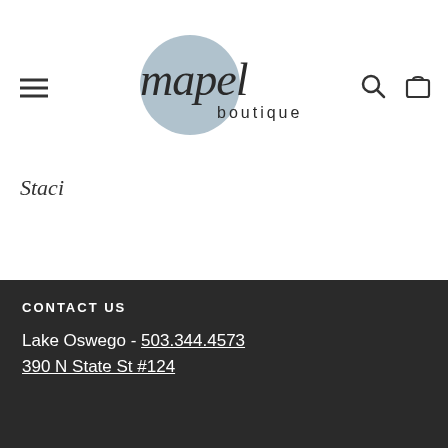mapel boutique [logo with hamburger menu, search, and cart icons]
Staci
CONTACT US
Lake Oswego - 503.344.4573
390 N State St #124